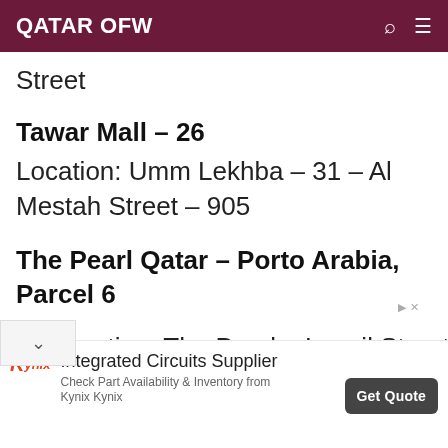QATAR OFW
Street
Tawar Mall – 26
Location: Umm Lekhba – 31 – Al Mestah Street – 905
The Pearl Qatar – Porto Arabia, Parcel 6
Location: The Pearl – Lusail Street
[Figure (screenshot): Advertisement banner for Kynix: Integrated Circuits Supplier. Check Part Availability & Inventory from Kynix Kynix. Get Quote button.]